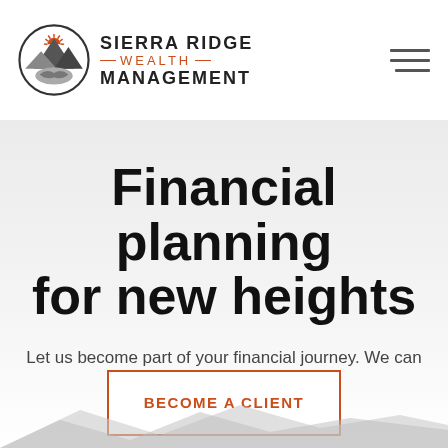[Figure (logo): Sierra Ridge Wealth Management logo: circular emblem with mountain and handshake, with text 'Sierra Ridge WEALTH Management']
Financial planning for new heights
Let us become part of your financial journey. We can help you reach new heights.
BECOME A CLIENT